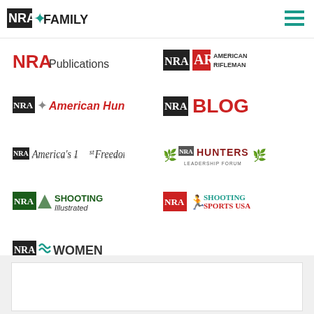[Figure (logo): NRA Family logo - header]
[Figure (logo): Hamburger menu icon]
[Figure (logo): NRA Publications logo]
[Figure (logo): NRA American Rifleman logo]
[Figure (logo): NRA American Hunter logo]
[Figure (logo): NRA Blog logo]
[Figure (logo): NRA America's 1st Freedom logo]
[Figure (logo): NRA Hunters Leadership Forum logo]
[Figure (logo): NRA Shooting Illustrated logo]
[Figure (logo): NRA Shooting Sports USA logo]
[Figure (logo): NRA Women logo]